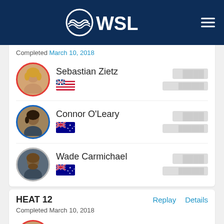WSL
Completed March 10, 2018
Sebastian Zietz
[Figure (photo): Sebastian Zietz athlete photo with red circle border and Hawaii flag]
Connor O'Leary
[Figure (photo): Connor O'Leary athlete photo with blue circle border and Australian flag]
Wade Carmichael
[Figure (photo): Wade Carmichael athlete photo with gray circle border and Australian flag]
HEAT 12
Replay
Details
Completed March 10, 2018
Mick Fanning
[Figure (photo): Mick Fanning athlete photo with red circle border and Australian flag]